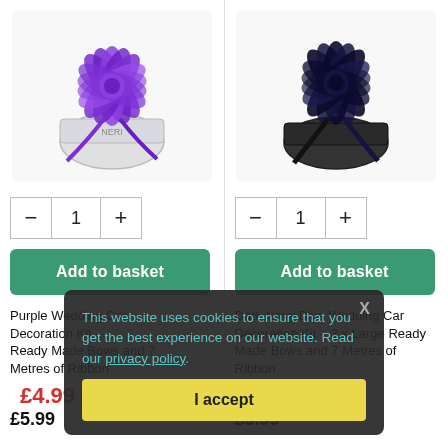[Figure (photo): Purple decorative bow/ribbon kit product image]
[Figure (photo): Dark navy/black decorative bow/ribbon kit product image]
- 1 +
- 1 +
Add to basket
Add to basket
Purple Wedding Car Decoration Kit – Large Ready Made Bows and 7 Metres of Ribbon
Dark Navy Blue Wedding Car Decoration Kit – 3 x Large Ready Made Bows and 7 Metres of Ribbon
£4.99 ex. Vat
£4.99 ex. Vat
£5.99
£5.99
This website uses cookies to ensure that you get the best experience on our website. Read our privacy policy.
I accept